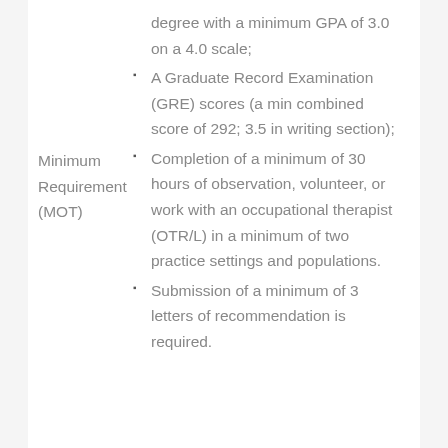degree with a minimum GPA of 3.0 on a 4.0 scale;
A Graduate Record Examination (GRE) scores (a min combined score of 292; 3.5 in writing section);
Minimum Requirement (MOT)
Completion of a minimum of 30 hours of observation, volunteer, or work with an occupational therapist (OTR/L) in a minimum of two practice settings and populations.
Submission of a minimum of 3 letters of recommendation is required.